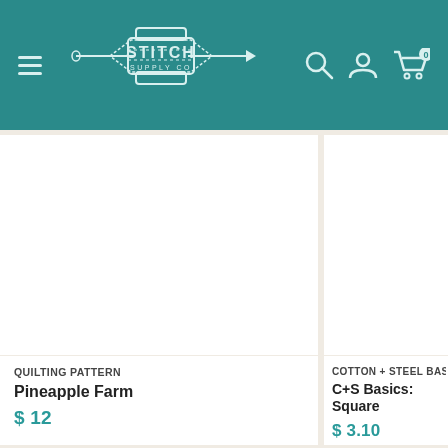Stitch Supply Co. — navigation header with hamburger menu, logo, search, account, and cart icons
QUILTING PATTERN
Pineapple Farm
$ 12
COTTON + STEEL BASI
C+S Basics: Square
$ 3.10